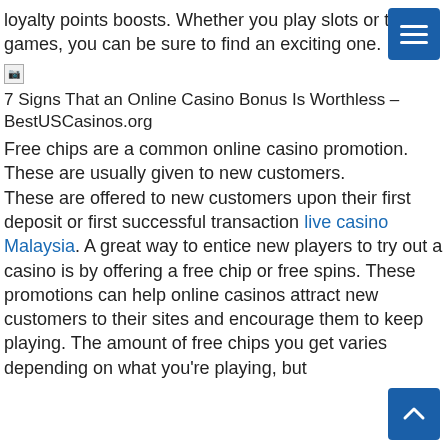loyalty points boosts. Whether you play slots or table games, you can be sure to find an exciting one.
[Figure (other): Broken image placeholder with alt text: 7 Signs That an Online Casino Bonus Is Worthless – BestUSCasinos.org]
Free chips are a common online casino promotion. These are usually given to new customers. These are offered to new customers upon their first deposit or first successful transaction live casino Malaysia. A great way to entice new players to try out a casino is by offering a free chip or free spins. These promotions can help online casinos attract new customers to their sites and encourage them to keep playing. The amount of free chips you get varies depending on what you're playing, but